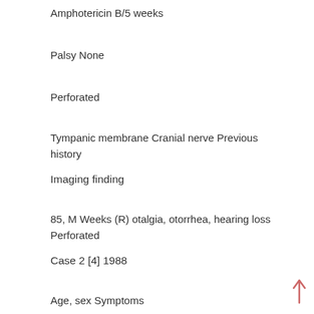Amphotericin B/5 weeks
Palsy None
Perforated
Tympanic membrane Cranial nerve Previous history
Imaging finding
85, M Weeks (R) otalgia, otorrhea, hearing loss Perforated
80, M Progressive external otitis (R)
Case 2 [4] 1988
Age, sex Symptoms
Case 1 [3] 1988
Table I. Characteristics of all patients described in the literature.